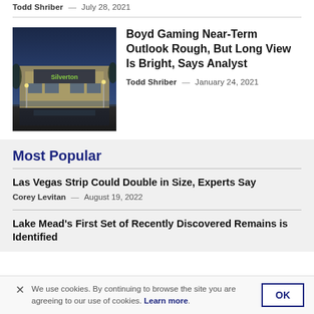Todd Shriber — July 28, 2021
[Figure (photo): Exterior photo of a casino/gaming building at dusk with blue sky and parking lot lights]
Boyd Gaming Near-Term Outlook Rough, But Long View Is Bright, Says Analyst
Todd Shriber — January 24, 2021
Most Popular
Las Vegas Strip Could Double in Size, Experts Say
Corey Levitan — August 19, 2022
Lake Mead's First Set of Recently Discovered Remains is Identified
We use cookies. By continuing to browse the site you are agreeing to our use of cookies. Learn more.